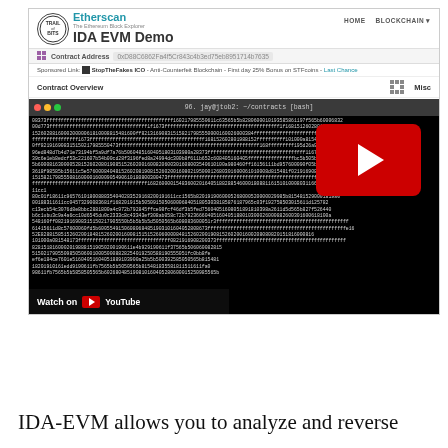[Figure (screenshot): Screenshot of Etherscan Ethereum block explorer showing IDA EVM Demo contract address page with Trail of Bits logo, navigation bar with HOME and BLOCKCHAIN links, contract overview section, ETH balance, and a terminal window overlaid showing hex/binary contract data with a YouTube video play button overlay]
IDA-EVM allows you to analyze and reverse